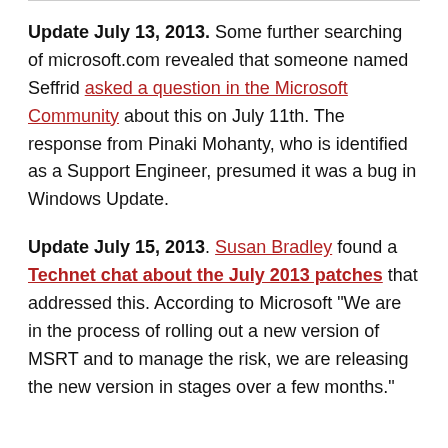Update July 13, 2013. Some further searching of microsoft.com revealed that someone named Seffrid asked a question in the Microsoft Community about this on July 11th. The response from Pinaki Mohanty, who is identified as a Support Engineer, presumed it was a bug in Windows Update.
Update July 15, 2013. Susan Bradley found a Technet chat about the July 2013 patches that addressed this. According to Microsoft "We are in the process of rolling out a new version of MSRT and to manage the risk, we are releasing the new version in stages over a few months."